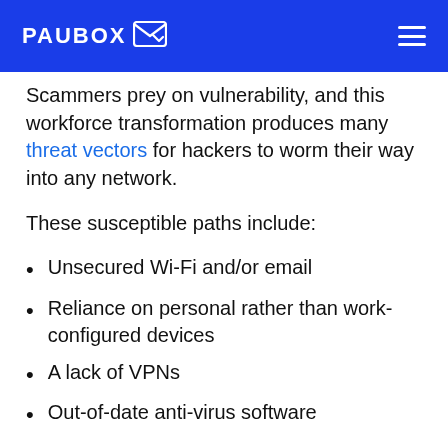PAUBOX
Scammers prey on vulnerability, and this workforce transformation produces many threat vectors for hackers to worm their way into any network.
These susceptible paths include:
Unsecured Wi-Fi and/or email
Reliance on personal rather than work-configured devices
A lack of VPNs
Out-of-date anti-virus software